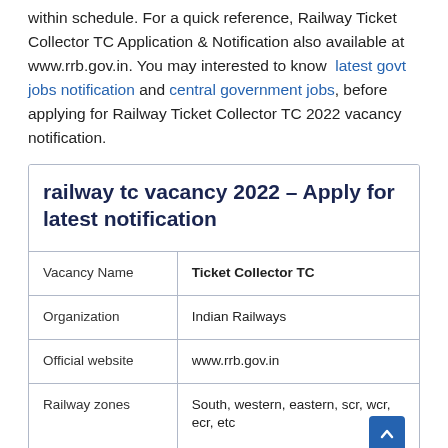within schedule. For a quick reference, Railway Ticket Collector TC Application & Notification also available at www.rrb.gov.in. You may interested to know latest govt jobs notification and central government jobs, before applying for Railway Ticket Collector TC 2022 vacancy notification.
|  |  |
| --- | --- |
| Vacancy Name | Ticket Collector TC |
| Organization | Indian Railways |
| Official website | www.rrb.gov.in |
| Railway zones | South, western, eastern, scr, wcr, ecr, etc |
| salary basic pay | 21000-817000 |